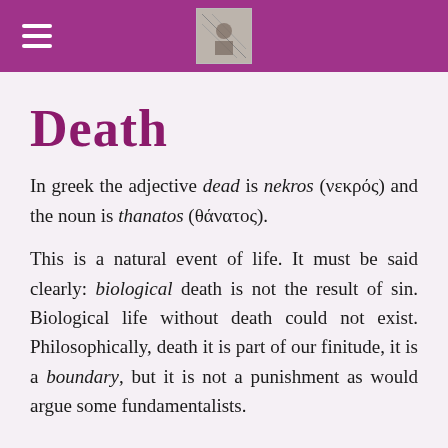Death
In greek the adjective dead is nekros (νεκρός) and the noun is thanatos (θάνατος).
This is a natural event of life. It must be said clearly: biological death is not the result of sin. Biological life without death could not exist. Philosophically, death it is part of our finitude, it is a boundary, but it is not a punishment as would argue some fundamentalists.